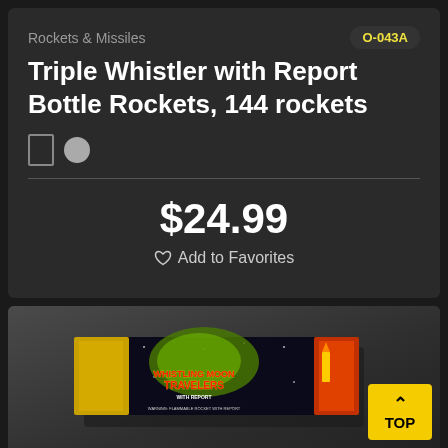Rockets & Missiles
O-043A
Triple Whistler with Report Bottle Rockets, 144 rockets
$24.99
Add to Favorites
[Figure (photo): Product photo of Whistling Moon Travelers with Report bottle rockets package, a flat rectangular box with colorful fireworks branding on dark background.]